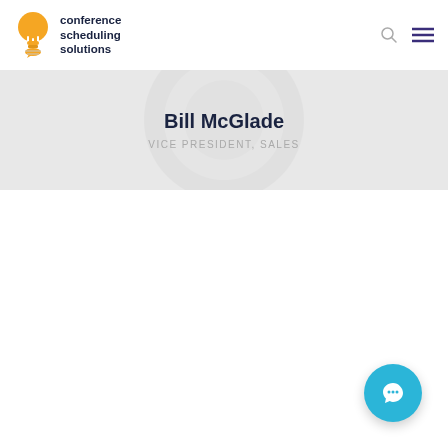[Figure (logo): Conference Scheduling Solutions logo: orange lightbulb icon with speech bubble, beside bold dark text reading 'conference scheduling solutions']
Bill McGlade
VICE PRESIDENT, SALES
[Figure (illustration): Teal/blue circular chat widget button with white speech bubble icon, positioned in bottom-right corner]